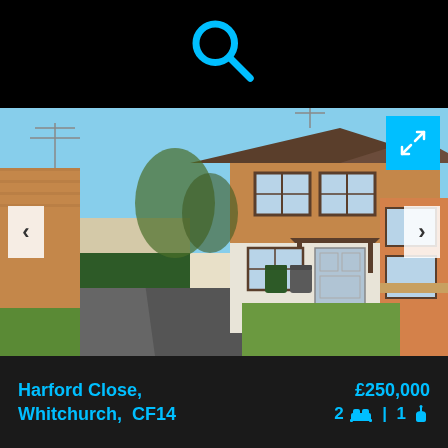[Figure (photo): Cyan search/magnifying glass icon on black background]
[Figure (photo): Exterior photo of a two-storey semi-detached brick house in Harford Close, Whitchurch, CF14. Blue sky, green lawn, driveway with garage. Navigation arrows left/right and expand button visible.]
Harford Close,
Whitchurch,  CF14
£250,000
2 🛏 | 1 🛁